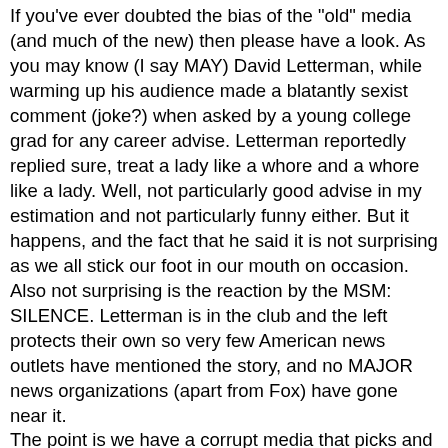If you've ever doubted the bias of the "old" media (and much of the new) then please have a look. As you may know (I say MAY) David Letterman, while warming up his audience made a blatantly sexist comment (joke?) when asked by a young college grad for any career advise. Letterman reportedly replied sure, treat a lady like a whore and a whore like a lady. Well, not particularly good advise in my estimation and not particularly funny either. But it happens, and the fact that he said it is not surprising as we all stick our foot in our mouth on occasion.
Also not surprising is the reaction by the MSM: SILENCE. Letterman is in the club and the left protects their own so very few American news outlets have mentioned the story, and no MAJOR news organizations (apart from Fox) have gone near it.
The point is we have a corrupt media that picks and chooses stories and launders the facts to fit their leftist agenda. The next Republican nominee will have to address this reality if said nominee wants to win. I think most of them realize Romney could have won had he called out the oleaginous and aptly named Candy Crowley (apart from Jeb, he's fuqing clueless!). I am seeing some pushback by some prospective